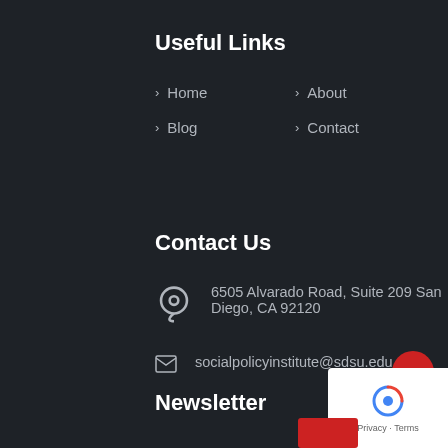Useful Links
Home
About
Blog
Contact
Contact Us
6505 Alvarado Road, Suite 209 San Diego, CA 92120
socialpolicyinstitute@sdsu.edu
Newsletter